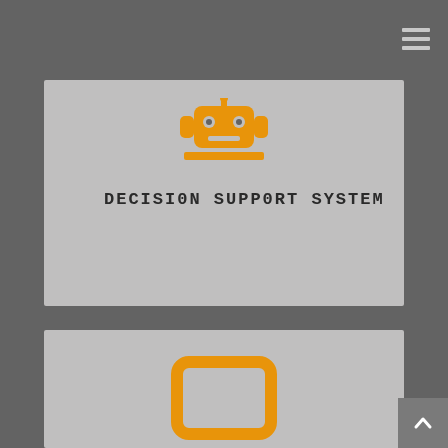[Figure (illustration): Robot icon in orange color, with antenna and body on top of an orange horizontal bar]
DECISION SUPPORT SYSTEM
[Figure (illustration): Partial orange rounded rectangle / tablet icon visible at the bottom of the second card, cropped at page edge]